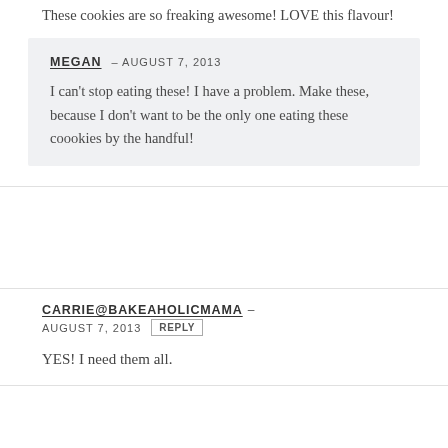These cookies are so freaking awesome! LOVE this flavour!
MEGAN – AUGUST 7, 2013
I can't stop eating these! I have a problem. Make these, because I don't want to be the only one eating these coookies by the handful!
CARRIE@BAKEAHOLICMAMA – AUGUST 7, 2013 REPLY
YES! I need them all.